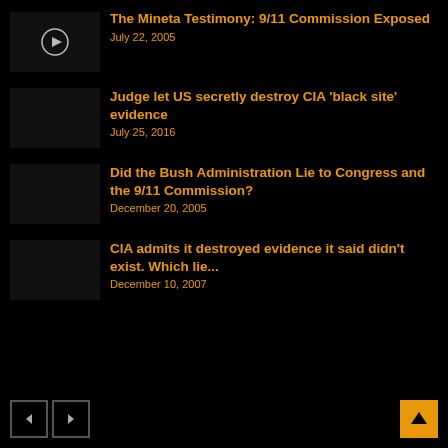The Mineta Testimony: 9/11 Commission Exposed — July 22, 2005
Judge let US secretly destroy CIA 'black site' evidence — July 25, 2016
Did the Bush Administration Lie to Congress and the 9/11 Commission? — December 20, 2005
CIA admits it destroyed evidence it said didn't exist. Which lie... — December 10, 2007